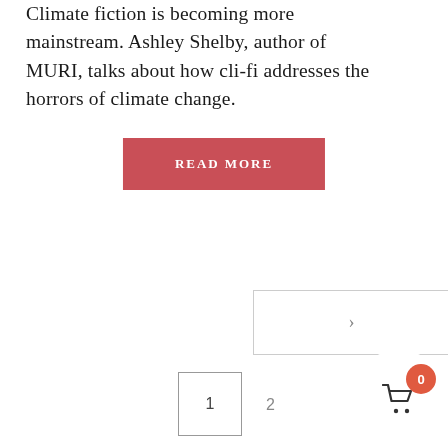Climate fiction is becoming more mainstream. Ashley Shelby, author of MURI, talks about how cli-fi addresses the horrors of climate change.
READ MORE
[Figure (other): Navigation next arrow button (right chevron) in a bordered box, and a scroll-to-top button with an up arrow on grey background]
1  2
[Figure (other): Shopping cart icon with orange badge showing count 0]